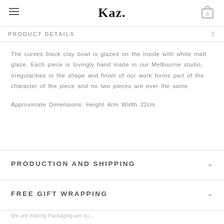Kaz.
PRODUCT DETAILS
The curves black clay bowl is glazed on the inside with white matt glaze. Each piece is lovingly hand made in our Melbourne studio, irregularities in the shape and finish of our work forms part of the character of the piece and no two pieces are ever the same.
Approximate Dimensions: Height 4cm Width 22cm
PRODUCTION AND SHIPPING
FREE GIFT WRAPPING
We ure making Packaging uer itu...